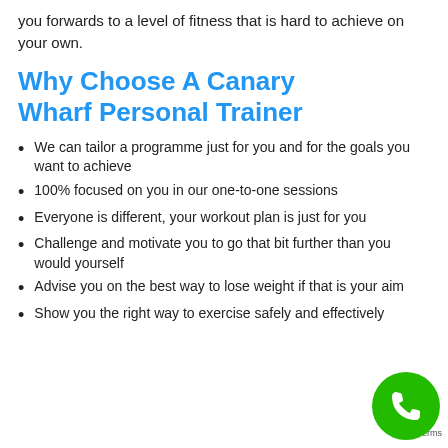you forwards to a level of fitness that is hard to achieve on your own.
Why Choose A Canary Wharf Personal Trainer
We can tailor a programme just for you and for the goals you want to achieve
100% focused on you in our one-to-one sessions
Everyone is different, your workout plan is just for you
Challenge and motivate you to go that bit further than you would yourself
Advise you on the best way to lose weight if that is your aim
Show you the right way to exercise safely and effectively
[Figure (illustration): Green circular phone call button badge in the bottom right corner with a white phone handset icon]